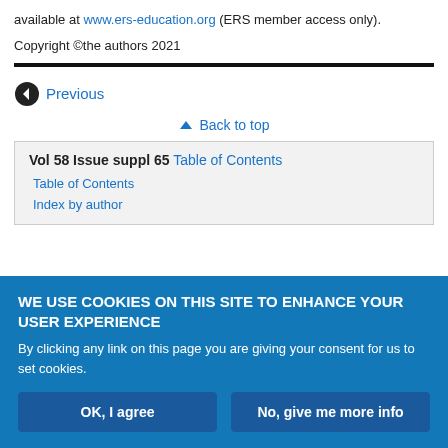available at www.ers-education.org (ERS member access only).
Copyright ©the authors 2021
← Previous
^ Back to top
Vol 58 Issue suppl 65 Table of Contents
Table of Contents
Index by author
WE USE COOKIES ON THIS SITE TO ENHANCE YOUR USER EXPERIENCE
By clicking any link on this page you are giving your consent for us to set cookies.